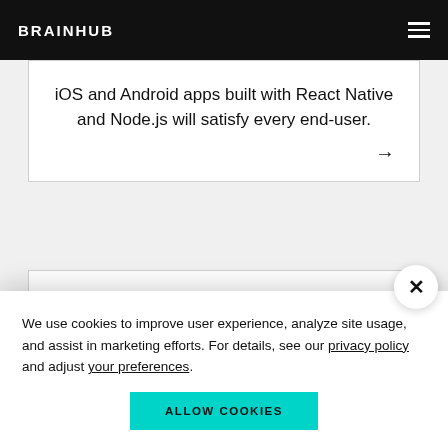BRAINHUB
iOS and Android apps built with React Native and Node.js will satisfy every end-user.
We use cookies to improve user experience, analyze site usage, and assist in marketing efforts. For details, see our privacy policy and adjust your preferences.
ALLOW COOKIES